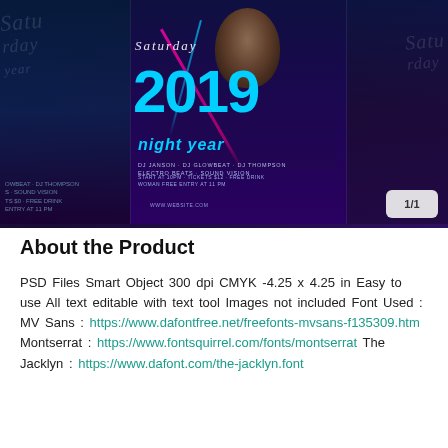[Figure (photo): Saturday 2019 Night Year event flyer collage showing a DJ/party promotional poster with neon lasers, cyan colored large '2019' text, 'night year' subtitle, DJ names (DJ Janson, DJ Glowbeat, DJ Thompson, Electro Beats, Sound Vision), event details (Start at 10PM, Tickets $12, Free Drink, Woman Free Entry at 11PM), website www.website.com. A page indicator '1/1' is visible in the bottom right corner.]
About the Product
PSD Files Smart Object 300 dpi CMYK -4.25 x 4.25 in Easy to use All text editable with text tool Images not included Font Used : MV Sans : https://www.dafontfree.net/freefonts-mvsans-f135309.htm Montserrat : https://www.fontsquirrel.com/fonts/montserrat The Jacklyn : https://www.dafont.com/the-jacklyn.font